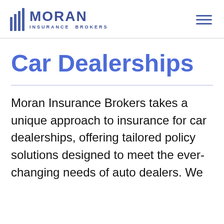MORAN INSURANCE BROKERS
Car Dealerships
Moran Insurance Brokers takes a unique approach to insurance for car dealerships, offering tailored policy solutions designed to meet the ever-changing needs of auto dealers. We